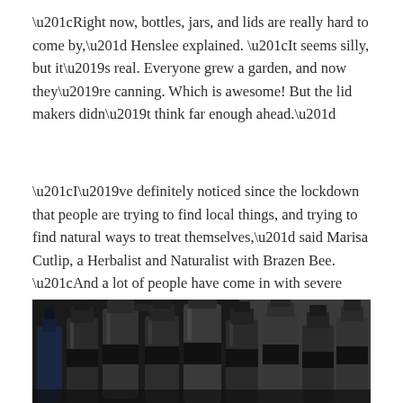“Right now, bottles, jars, and lids are really hard to come by,” Henslee explained. “It seems silly, but it’s real. Everyone grew a garden, and now they’re canning. Which is awesome! But the lid makers didn’t think far enough ahead.”
“I’ve definitely noticed since the lockdown that people are trying to find local things, and trying to find natural ways to treat themselves,” said Marisa Cutlip, a Herbalist and Naturalist with Brazen Bee. “And a lot of people have come in with severe anxiety or insomnia.”
[Figure (photo): A dark photograph showing multiple glass bottles and spray bottles with dark caps arranged closely together, likely herbal or natural product bottles.]